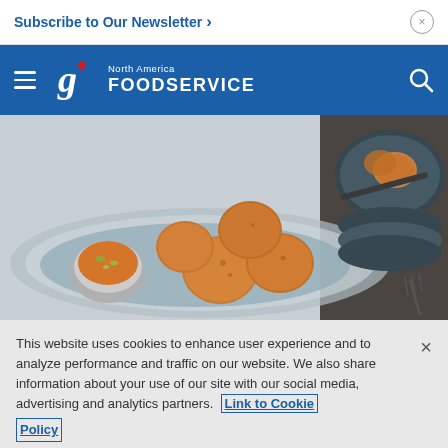Subscribe to Our Newsletter >
[Figure (logo): General Mills North America Foodservice logo with hamburger menu on blue navigation bar]
[Figure (photo): Food photography showing golden-brown fried hush puppies or fritters on a plate with a small bowl of dipping sauce with green garnish, dark plates and fork in background]
This website uses cookies to enhance user experience and to analyze performance and traffic on our website. We also share information about your use of our site with our social media, advertising and analytics partners. Link to Cookie Policy